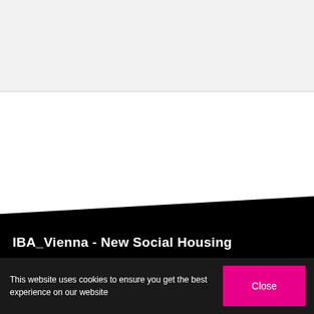[Figure (screenshot): Top light gray section of a webpage]
[Figure (screenshot): White mid-section of a webpage with a diagonal black area below representing IBA_Vienna website]
IBA_Vienna - New Social Housing
This website uses cookies to ensure you get the best experience on our website
Close